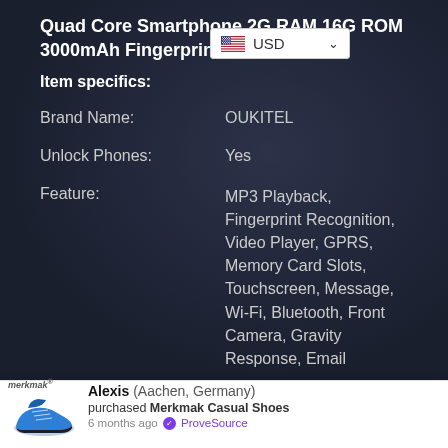Quad Core Smartphone 2G RAM 16G ROM 3000mAh Fingerprint Mobile Phone
Item specifics:
| Attribute | Value |
| --- | --- |
| Brand Name: | OUKITEL |
| Unlock Phones: | Yes |
| Feature: | MP3 Playback, Fingerprint Recognition, Video Player, GPRS, Memory Card Slots, Touchscreen, Message, Wi-Fi, Bluetooth, Front Camera, Gravity Response, Email |
| Google Play: | Yes |
| RAM: | 2G |
| Camera Type: | Front & Back Camera |
[Figure (screenshot): USD currency selector dropdown overlay with US flag]
merkmak® Alexis (Aachen, Germany) purchased Merkmak Casual Shoes 6 months ago ✓ ProveSource